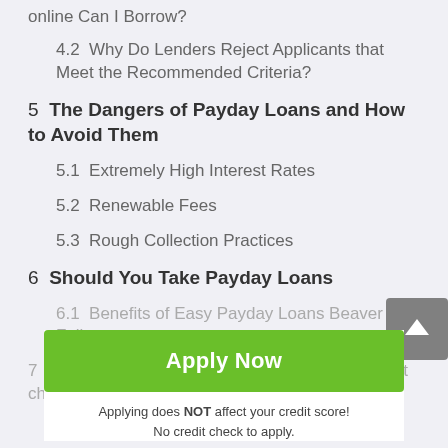online Can I Borrow?
4.2  Why Do Lenders Reject Applicants that Meet the Recommended Criteria?
5  The Dangers of Payday Loans and How to Avoid Them
5.1  Extremely High Interest Rates
5.2  Renewable Fees
5.3  Rough Collection Practices
6  Should You Take Payday Loans
6.1  Benefits of Easy Payday Loans Beaver Falls
7  Can I Get Payday Loans Beaver Falls No Credit check?
7.1  What is a payday no Credit Check Loan?
[Figure (other): Grey scroll-up arrow button in the bottom right of the content area]
[Figure (other): Green Apply Now button overlay with text: Apply does NOT affect your credit score! No credit check to apply.]